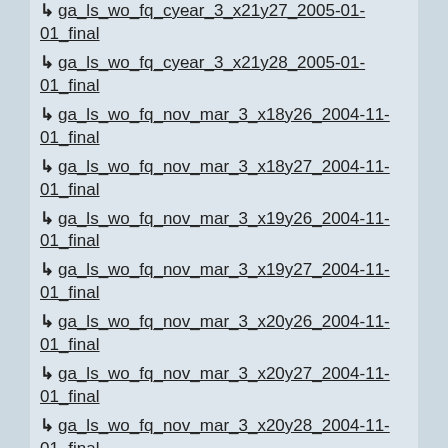↳ ga_ls_wo_fq_cyear_3_x21y27_2005-01-01_final
↳ ga_ls_wo_fq_cyear_3_x21y28_2005-01-01_final
↳ ga_ls_wo_fq_nov_mar_3_x18y26_2004-11-01_final
↳ ga_ls_wo_fq_nov_mar_3_x18y27_2004-11-01_final
↳ ga_ls_wo_fq_nov_mar_3_x19y26_2004-11-01_final
↳ ga_ls_wo_fq_nov_mar_3_x19y27_2004-11-01_final
↳ ga_ls_wo_fq_nov_mar_3_x20y26_2004-11-01_final
↳ ga_ls_wo_fq_nov_mar_3_x20y27_2004-11-01_final
↳ ga_ls_wo_fq_nov_mar_3_x20y28_2004-11-01_final
↳ ga_ls_wo_fq_nov_mar_3_x21y26_2004-11-